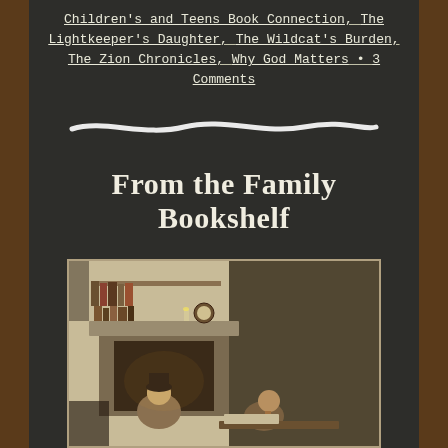Children's and Teens Book Connection, The Lightkeeper's Daughter, The Wildcat's Burden, The Zion Chronicles, Why God Matters • 3 comments
[Figure (illustration): Chalk-style horizontal wavy white line divider on dark chalkboard background]
From the Family Bookshelf
[Figure (illustration): Vintage black and white etching/engraving of two children reading by a fireplace with a bookshelf above]